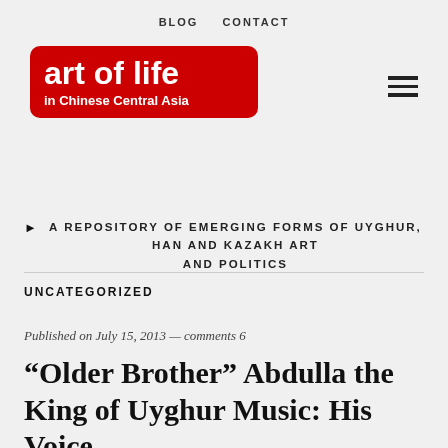BLOG   CONTACT
[Figure (logo): Art of Life in Chinese Central Asia logo — white text on red rounded rectangle background]
▶  A REPOSITORY OF EMERGING FORMS OF UYGHUR, HAN AND KAZAKH ART AND POLITICS
UNCATEGORIZED
Published on July 15, 2013 — comments 6
“Older Brother” Abdulla the King of Uyghur Music: His Voice